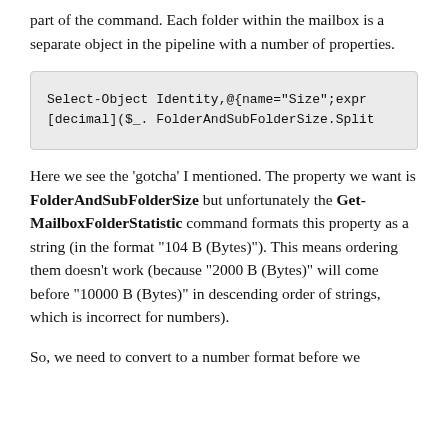part of the command. Each folder within the mailbox is a separate object in the pipeline with a number of properties.
[Figure (screenshot): Code block showing: Select-Object Identity,@{name="Size";expr [decimal]($_. FolderAndSubFolderSize.Split]
Here we see the 'gotcha' I mentioned. The property we want is FolderAndSubFolderSize but unfortunately the Get-MailboxFolderStatistic command formats this property as a string (in the format "104 B (Bytes)"). This means ordering them doesn't work (because "2000 B (Bytes)" will come before "10000 B (Bytes)" in descending order of strings, which is incorrect for numbers).
So, we need to convert to a number format before we